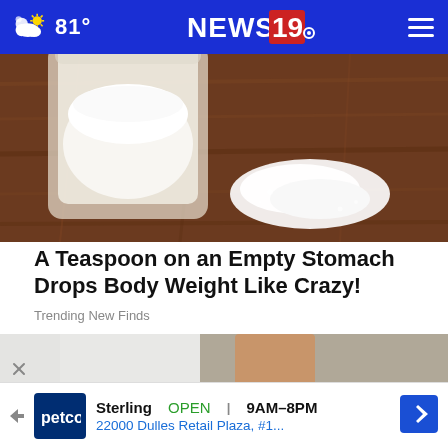81° NEWS 19
[Figure (photo): Close-up photo of a white powder in a glass jar and spilled on a wooden surface]
A Teaspoon on an Empty Stomach Drops Body Weight Like Crazy!
Trending New Finds
[Figure (photo): Photo of a person's legs wearing white pants and white slip-on shoes with gold accents, shown from below the knees]
Sterling  OPEN | 9AM–8PM  22000 Dulles Retail Plaza, #1...